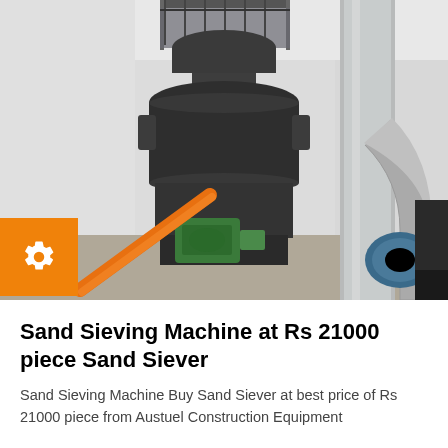[Figure (photo): Industrial sand sieving machine / sand siever in a factory setting. Large dark grey vertical mill machine with green motor unit at base, orange diagonal pipe/chute, and large silver ventilation ducts on the right side. Factory interior with white walls and metal walkway visible at top.]
Sand Sieving Machine at Rs 21000 piece Sand Siever
Sand Sieving Machine Buy Sand Siever at best price of Rs 21000 piece from Austuel Construction Equipment